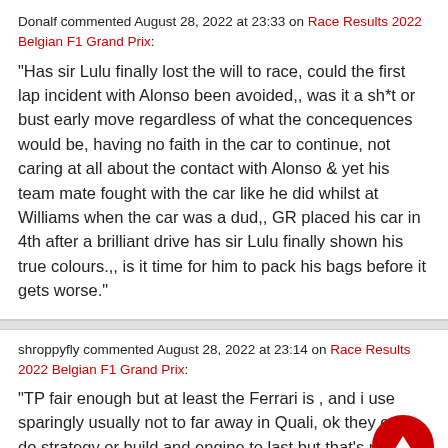Donalf commented August 28, 2022 at 23:33 on Race Results 2022 Belgian F1 Grand Prix:
"Has sir Lulu finally lost the will to race, could the first lap incident with Alonso been avoided,, was it a sh*t or bust early move regardless of what the concequences would be, having no faith in the car to continue, not caring at all about the contact with Alonso & yet his team mate fought with the car like he did whilst at Williams when the car was a dud,, GR placed his car in 4th after a brilliant drive has sir Lulu finally shown his true colours.,, is it time for him to pack his bags before it gets worse."
shroppyfly commented August 28, 2022 at 23:14 on Race Results 2022 Belgian F1 Grand Prix:
"TP fair enough but at least the Ferrari is , and i use sparingly usually not to far away in Quali, ok they cant do strategy or build and engine to last but that's not Maxes fault, watching the Dame being interviewed after she sounded like she was going to cry bless her, as for the new